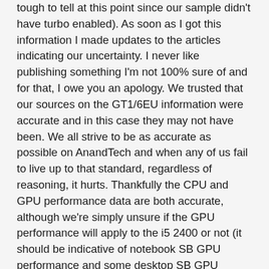tough to tell at this point since our sample didn't have turbo enabled). As soon as I got this information I made updates to the articles indicating our uncertainty. I never like publishing something I'm not 100% sure of and for that, I owe you an apology. We trusted that our sources on the GT1/6EU information were accurate and in this case they may not have been. We all strive to be as accurate as possible on AnandTech and when any of us fail to live up to that standard, regardless of reasoning, it hurts. Thankfully the CPU and GPU performance data are both accurate, although we're simply unsure if the GPU performance will apply to the i5 2400 or not (it should be indicative of notebook SB GPU performance and some desktop SB GPU performance).
The desktop Sandy Bridge GPU rollout is less clear. I've heard that the enthusiast K-SKUs will have GT2 graphics while the more mainstream parts will have GT1. I'm not sure this makes sense, but we'll have to wait and see.
Many of you have been drawing the comparison to Llano and how it will do vs. Sandy Bridge. Llano is supposed to be based on a modified version of the current generation Phenom II architecture. Clock for clock, I'd expect that to be slower than Sandy Bridge. But clock for clock isn't what matters, it's performance per dollar and